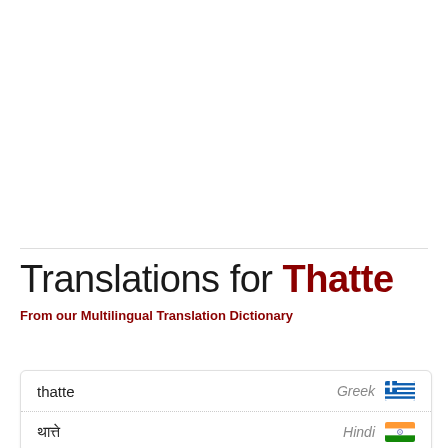Translations for Thatte
From our Multilingual Translation Dictionary
| Translation | Language | Flag |
| --- | --- | --- |
| thatte | Greek | 🇬🇷 |
| थात्ते | Hindi | 🇮🇳 |